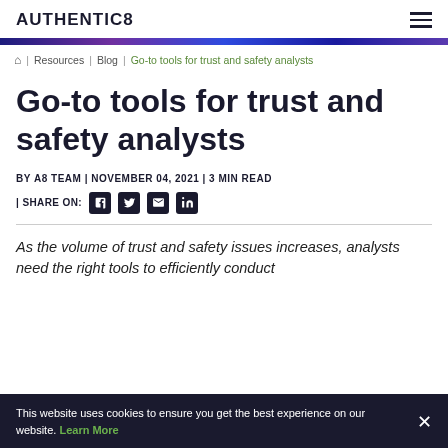AUTHENTIC8
Resources | Blog | Go-to tools for trust and safety analysts
Go-to tools for trust and safety analysts
BY A8 TEAM | NOVEMBER 04, 2021 | 3 MIN READ
| SHARE ON: [LinkedIn] [Twitter] [Email] [Facebook]
As the volume of trust and safety issues increases, analysts need the right tools to efficiently conduct
This website uses cookies to ensure you get the best experience on our website. Learn More